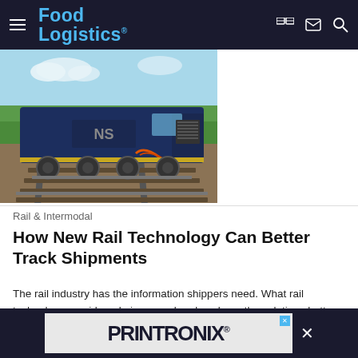Food Logistics
[Figure (photo): A blue freight train locomotive on railroad tracks with green trees in the background]
Rail & Intermodal
How New Rail Technology Can Better Track Shipments
The rail industry has the information shippers need. What rail technology providers do is expand and package the solutions better so shippers can make more intelligent and intuitive...
TransmetriQ   August 22, 2022
[Figure (other): PRINTRONIX advertisement banner in dark background]